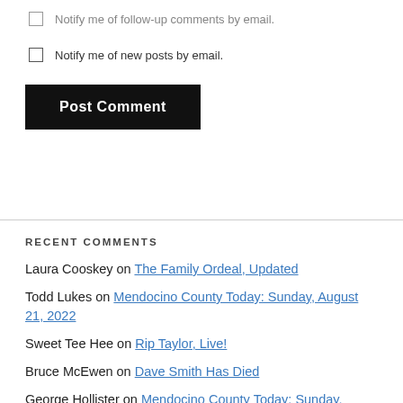Notify me of follow-up comments by email.
Notify me of new posts by email.
Post Comment
RECENT COMMENTS
Laura Cooskey on The Family Ordeal, Updated
Todd Lukes on Mendocino County Today: Sunday, August 21, 2022
Sweet Tee Hee on Rip Taylor, Live!
Bruce McEwen on Dave Smith Has Died
George Hollister on Mendocino County Today: Sunday,